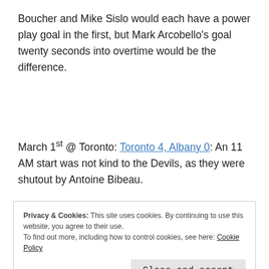Boucher and Mike Sislo would each have a power play goal in the first, but Mark Arcobello's goal twenty seconds into overtime would be the difference.
March 1st @ Toronto: Toronto 4, Albany 0: An 11 AM start was not kind to the Devils, as they were shutout by Antoine Bibeau.
Privacy & Cookies: This site uses cookies. By continuing to use this website, you agree to their use.
To find out more, including how to control cookies, see here: Cookie Policy
Close and accept